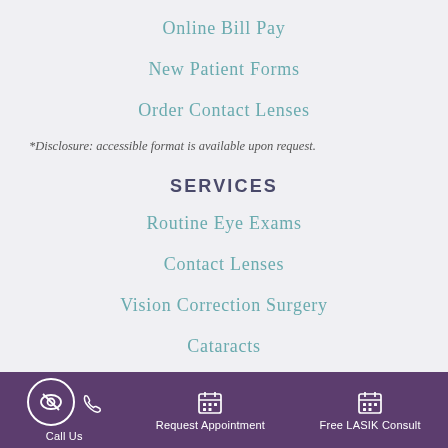Online Bill Pay
New Patient Forms
Order Contact Lenses
*Disclosure: accessible format is available upon request.
SERVICES
Routine Eye Exams
Contact Lenses
Vision Correction Surgery
Cataracts
Call Us | Request Appointment | Free LASIK Consult